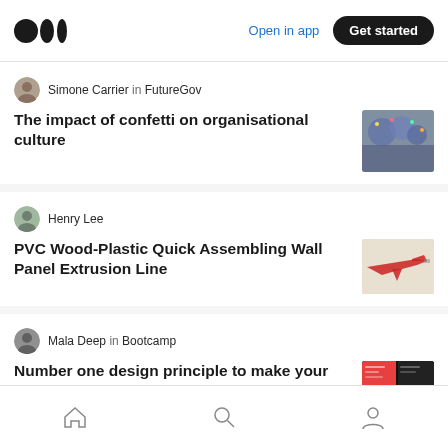Medium logo | Open in app | Get started
Simone Carrier in FutureGov
The impact of confetti on organisational culture
Henry Lee
PVC Wood-Plastic Quick Assembling Wall Panel Extrusion Line
Mala Deep in Bootcamp
Number one design principle to make your website user friendly
Try Khov
Home | Search | Profile